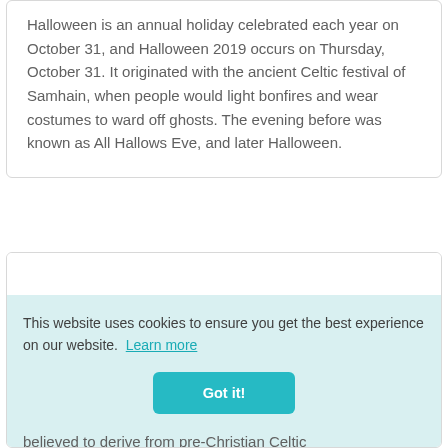Halloween is an annual holiday celebrated each year on October 31, and Halloween 2019 occurs on Thursday, October 31. It originated with the ancient Celtic festival of Samhain, when people would light bonfires and wear costumes to ward off ghosts. The evening before was known as All Hallows Eve, and later Halloween.
This website uses cookies to ensure you get the best experience on our website. Learn more
Got it!
believed to derive from pre-Christian Celtic